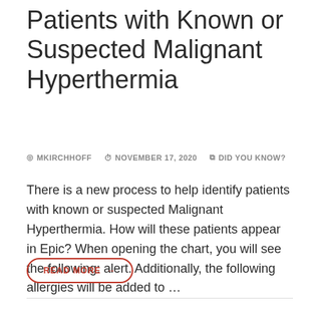Patients with Known or Suspected Malignant Hyperthermia
MKIRCHHOFF   NOVEMBER 17, 2020   DID YOU KNOW?
There is a new process to help identify patients with known or suspected Malignant Hyperthermia. How will these patients appear in Epic? When opening the chart, you will see the following: alert. Additionally, the following allergies will be added to …
READ MORE →